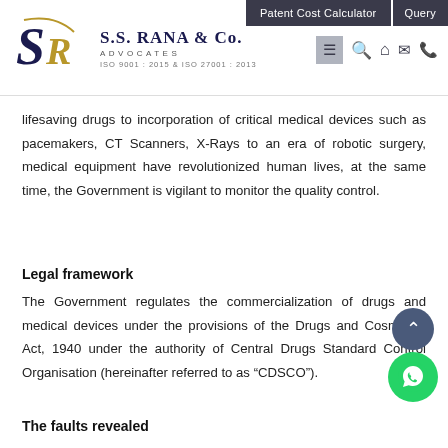[Figure (logo): S.S. Rana & Co. Advocates logo with SR monogram in navy and gold, text reading S.S. RANA & CO. ADVOCATES ISO 9001:2015 & ISO 27001:2013]
Patent Cost Calculator   Query
lifesaving drugs to incorporation of critical medical devices such as pacemakers, CT Scanners, X-Rays to an era of robotic surgery, medical equipment have revolutionized human lives, at the same time, the Government is vigilant to monitor the quality control.
Legal framework
The Government regulates the commercialization of drugs and medical devices under the provisions of the Drugs and Cosmetics Act, 1940 under the authority of Central Drugs Standard Control Organisation (hereinafter referred to as “CDSCO”).
The faults revealed